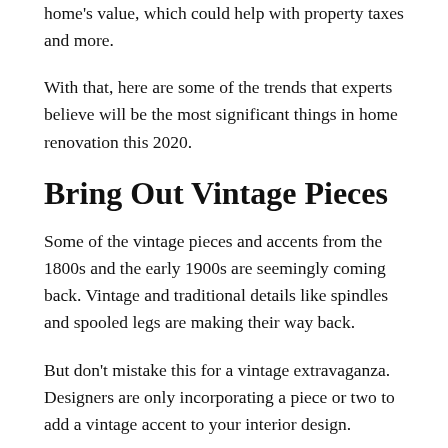home's value, which could help with property taxes and more.
With that, here are some of the trends that experts believe will be the most significant things in home renovation this 2020.
Bring Out Vintage Pieces
Some of the vintage pieces and accents from the 1800s and the early 1900s are seemingly coming back. Vintage and traditional details like spindles and spooled legs are making their way back.
But don't mistake this for a vintage extravaganza. Designers are only incorporating a piece or two to add a vintage accent to your interior design.